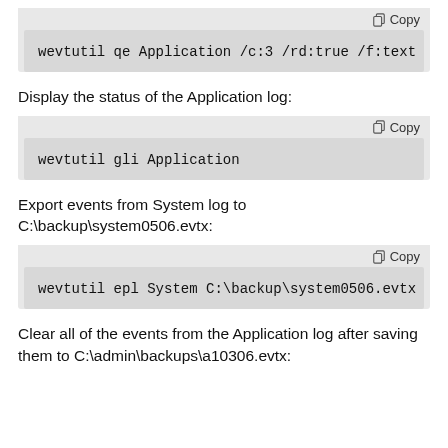[Figure (screenshot): Code block showing: wevtutil qe Application /c:3 /rd:true /f:text]
Display the status of the Application log:
[Figure (screenshot): Code block showing: wevtutil gli Application]
Export events from System log to C:\backup\system0506.evtx:
[Figure (screenshot): Code block showing: wevtutil epl System C:\backup\system0506.evtx]
Clear all of the events from the Application log after saving them to C:\admin\backups\a10306.evtx: